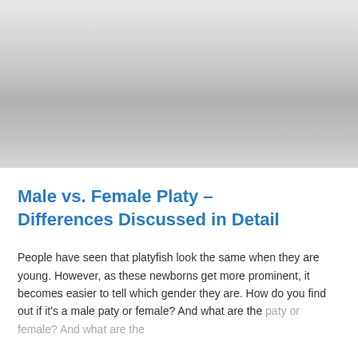[Figure (photo): A photograph of platy fish, shown with a gradient gray appearance due to image loading or partial render.]
Male vs. Female Platy – Differences Discussed in Detail
People have seen that platyfish look the same when they are young. However, as these newborns get more prominent, it becomes easier to tell which gender they are. How do you find out if it's a male paty or female? And what are the